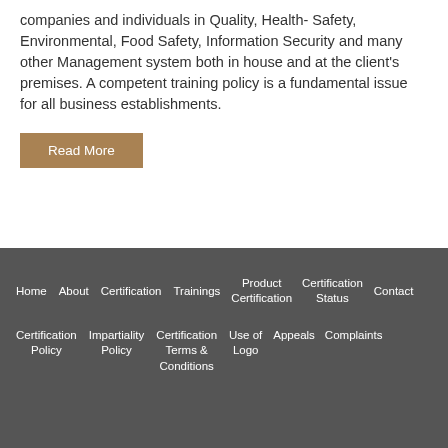companies and individuals in Quality, Health- Safety, Environmental, Food Safety, Information Security and many other Management system both in house and at the client's premises. A competent training policy is a fundamental issue for all business establishments.
Read More
Home  About  Certification  Trainings  Product Certification  Certification Status  Contact  Certification Policy  Impartiality Policy  Certification Terms & Conditions  Use of Logo  Appeals  Complaints